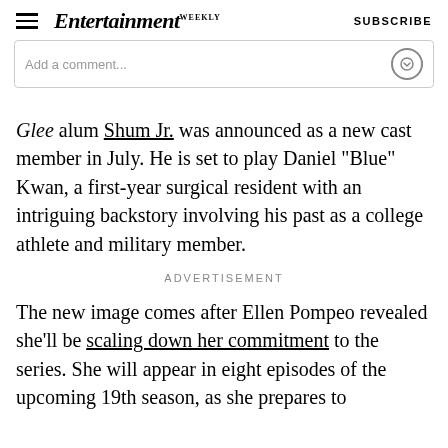Entertainment Weekly   SUBSCRIBE
Add a comment...
Glee alum Shum Jr. was announced as a new cast member in July. He is set to play Daniel "Blue" Kwan, a first-year surgical resident with an intriguing backstory involving his past as a college athlete and military member.
ADVERTISEMENT
The new image comes after Ellen Pompeo revealed she'll be scaling down her commitment to the series. She will appear in eight episodes of the upcoming 19th season, as she prepares to